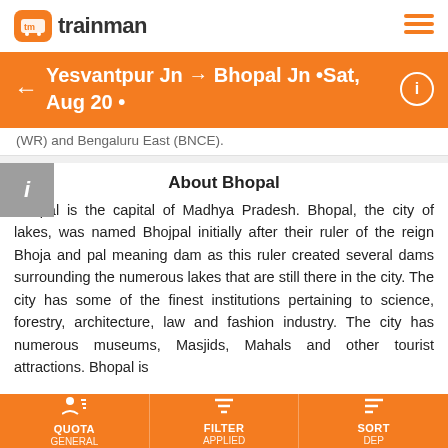trainman — Yesvantpur Jn → Bhopal Jn •Sat, Aug 20 •
(WR) and Bengaluru East (BNCE).
About Bhopal
Bhopal is the capital of Madhya Pradesh. Bhopal, the city of lakes, was named Bhojpal initially after their ruler of the reign Bhoja and pal meaning dam as this ruler created several dams surrounding the numerous lakes that are still there in the city. The city has some of the finest institutions pertaining to science, forestry, architecture, law and fashion industry. The city has numerous museums, Masjids, Mahals and other tourist attractions. Bhopal is served by Raja Bhoj airport located 15 kms north-west of the Bhopal city. It is considered to be one of the best connected cities in terms of railways, numerous trains to different cities.
QUOTA GENERAL | FILTER APPLIED | SORT DEP